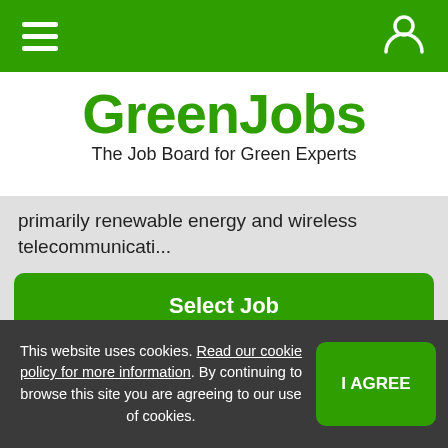[Figure (screenshot): Green navigation bar with hamburger menu icon on left and user/account icon on right]
GreenJobs
The Job Board for Green Experts
primarily renewable energy and wireless telecommunicati...
Select Job
Details/Apply »
This website uses cookies. Read our cookie policy for more information. By continuing to browse this site you are agreeing to our use of cookies.
I AGREE